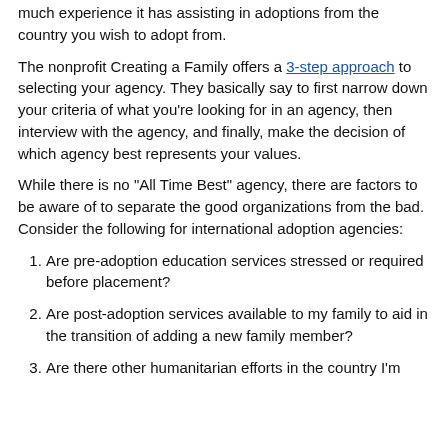much experience it has assisting in adoptions from the country you wish to adopt from.
The nonprofit Creating a Family offers a 3-step approach to selecting your agency. They basically say to first narrow down your criteria of what you're looking for in an agency, then interview with the agency, and finally, make the decision of which agency best represents your values.
While there is no “All Time Best” agency, there are factors to be aware of to separate the good organizations from the bad. Consider the following for international adoption agencies:
Are pre-adoption education services stressed or required before placement?
Are post-adoption services available to my family to aid in the transition of adding a new family member?
Are there other humanitarian efforts in the country I’m